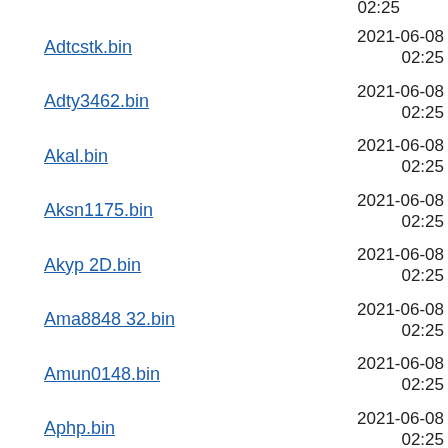Adtcstk.bin  2021-06-08 02:25  4.0K
Adty3462.bin  2021-06-08 02:25  4.0K
Akal.bin  2021-06-08 02:25  4.0K
Aksn1175.bin  2021-06-08 02:25  4.0K
Akyp 2D.bin  2021-06-08 02:25  4.0K
Ama8848 32.bin  2021-06-08 02:25  16K
Amun0148.bin  2021-06-08 02:25  4.0K
Aphp.bin  2021-06-08 02:25  16K
Apkd1374 6E.bin  2021-06-08 02:25  16K
Apyn3496 6E.bin  2021-06-08 02:25  16K
Arap 6E.bin  2021-06-08 02:25  16K